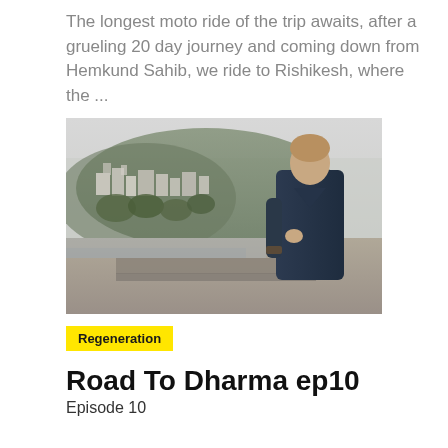The longest moto ride of the trip awaits, after a grueling 20 day journey and coming down from Hemkund Sahib, we ride to Rishikesh, where the ...
[Figure (photo): A man in a dark blue long-sleeve shirt stands on a riverbank or terrace, looking to the right at a misty mountain town (Rishikesh). Buildings on a hillside with green trees and mountains in the background.]
Regeneration
Road To Dharma ep10
Episode 10